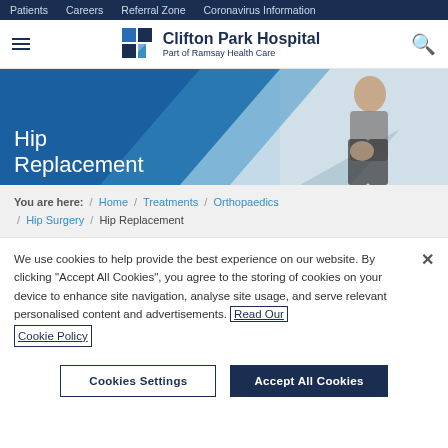Patients / Careers / Referral Zone / Coronavirus Information
[Figure (logo): Clifton Park Hospital logo with four-square icon, 'Part of Ramsay Health Care' tagline]
[Figure (photo): Hero banner image showing person holding hip area, with blue angular overlay and 'Hip Replacement' text]
Hip Replacement
You are here: / Home / Treatments / Orthopaedics / Hip Surgery / Hip Replacement
We use cookies to help provide the best experience on our website. By clicking "Accept All Cookies", you agree to the storing of cookies on your device to enhance site navigation, analyse site usage, and serve relevant personalised content and advertisements. Read Our Cookie Policy
Cookies Settings | Accept All Cookies